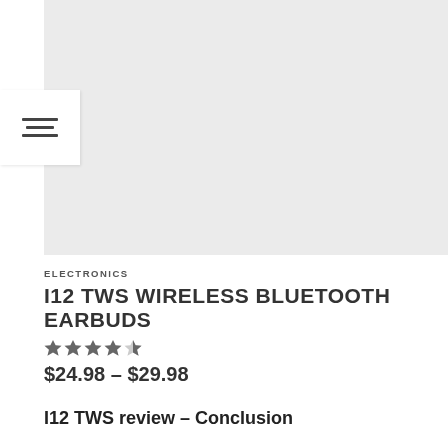[Figure (photo): Product image area — light gray placeholder rectangle for I12 TWS earbuds product photo]
ELECTRONICS
I12 TWS WIRELESS BLUETOOTH EARBUDS
★★★★☆
$24.98 – $29.98
I12 TWS review – Conclusion